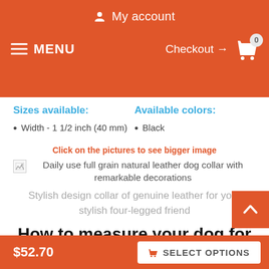My account
MENU   Checkout → 0
Sizes available:
Available colors:
Width - 1 1/2 inch (40 mm)
Black
Click on the pictures to see bigger image
Daily use full grain natural leather dog collar with remarkable decorations
Stylish design collar of genuine leather for your stylish four-legged friend
How to measure your dog for good fit Collar:
$52.70   SELECT OPTIONS